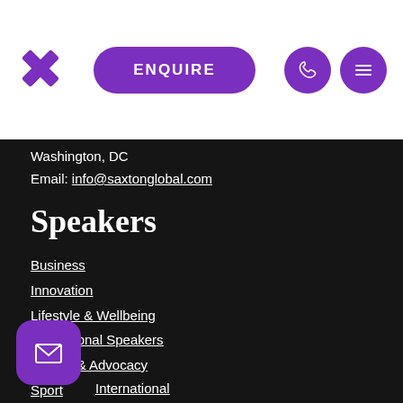[Figure (logo): Purple X logo mark]
ENQUIRE
[Figure (illustration): Purple circle with phone icon]
[Figure (illustration): Purple circle with hamburger menu icon]
Washington, DC
Email: info@saxtonglobal.com
Speakers
Business
Innovation
Lifestyle & Wellbeing
Motivational Speakers
Politics & Advocacy
Sport
[Figure (illustration): Purple rounded square with envelope/mail icon]
International